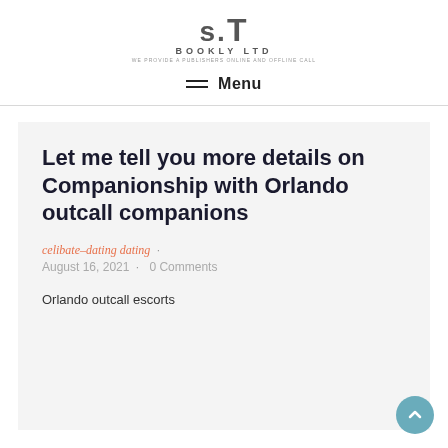S.T BOOKLY LTD
Menu
Let me tell you more details on Companionship with Orlando outcall companions
celibate-dating dating · August 16, 2021 · 0 Comments
Orlando outcall escorts